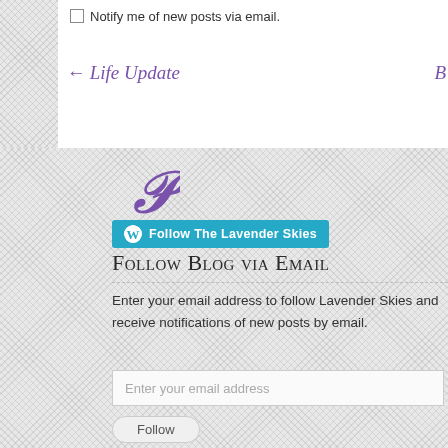Notify me of new posts via email.
← Life Update
[Figure (logo): Pinterest P icon in purple]
Follow The Lavender Skies
Follow Blog via Email
Enter your email address to follow Lavender Skies and receive notifications of new posts by email.
Enter your email address
Follow